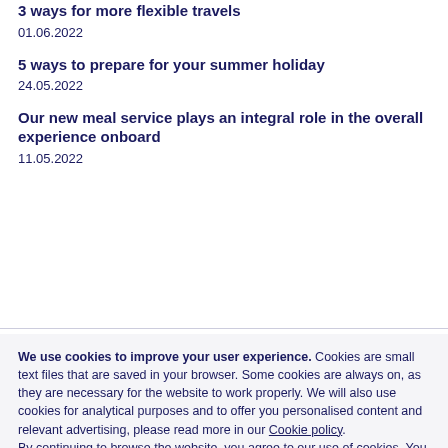3 ways for more flexible travels
01.06.2022
5 ways to prepare for your summer holiday
24.05.2022
Our new meal service plays an integral role in the overall experience onboard
11.05.2022
We use cookies to improve your user experience. Cookies are small text files that are saved in your browser. Some cookies are always on, as they are necessary for the website to work properly. We will also use cookies for analytical purposes and to offer you personalised content and relevant advertising, please read more in our Cookie policy. By continuing to browse the website, you agree to our use of cookies. You can change your cookie preferences at any time.